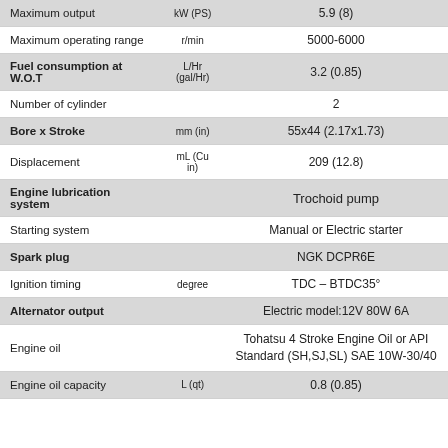| Parameter | Unit | Value |
| --- | --- | --- |
| Maximum output | kW (PS) | 5.9 (8) |
| Maximum operating range | r/min | 5000-6000 |
| Fuel consumption at W.O.T | L/Hr (gal/Hr) | 3.2 (0.85) |
| Number of cylinder |  | 2 |
| Bore x Stroke | mm (in) | 55x44 (2.17x1.73) |
| Displacement | mL (Cu in) | 209 (12.8) |
| Engine lubrication system |  | Trochoid pump |
| Starting system |  | Manual or Electric starter |
| Spark plug |  | NGK DCPR6E |
| Ignition timing | degree | TDC - BTDC35° |
| Alternator output |  | Electric model:12V 80W 6A |
| Engine oil |  | Tohatsu 4 Stroke Engine Oil or API Standard (SH,SJ,SL) SAE 10W-30/40 |
| Engine oil capacity | L (qt) | 0.8 (0.85) |